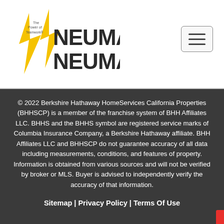[Figure (logo): Neuman Neuman & Associates logo with lightning bolt graphic and 'The Power of Teamwork' tagline]
© 2022 Berkshire Hathaway HomeServices California Properties (BHHSCP) is a member of the franchise system of BHH Affiliates LLC. BHHS and the BHHS symbol are registered service marks of Columbia Insurance Company, a Berkshire Hathaway affiliate. BHH Affiliates LLC and BHHSCP do not guarantee accuracy of all data including measurements, conditions, and features of property. Information is obtained from various sources and will not be verified by broker or MLS. Buyer is advised to independently verify the accuracy of that information.
Sitemap | Privacy Policy | Terms Of Use